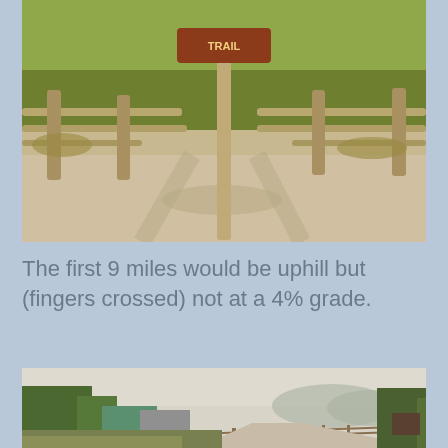[Figure (photo): A gravel path or trailhead area with a wooden split-rail fence and a trail sign on a post in the center. Green tall grass behind the fence, dry grassy ground in foreground. Outdoor rural scene, warm light.]
The first 9 miles would be uphill but (fingers crossed) not at a 4% grade.
[Figure (photo): A wide gravel trail stretching into the distance with a wooden fence along the right side. Trees on both sides, farm buildings and a green structure on the left, hazy mountains in the background under a pale sky.]